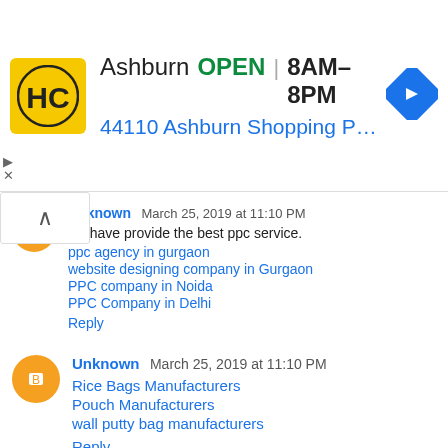[Figure (other): Advertisement banner for HC store in Ashburn showing logo, OPEN status, hours 8AM-8PM, address 44110 Ashburn Shopping Plaza 1., and navigation arrow icon]
Unknown March 25, 2019 at 11:10 PM
we have provide the best ppc service.
ppc agency in gurgaon
website designing company in Gurgaon
PPC company in Noida
PPC Company in Delhi
Reply
Unknown March 25, 2019 at 11:10 PM
Rice Bags Manufacturers
Pouch Manufacturers
wall putty bag manufacturers
Reply